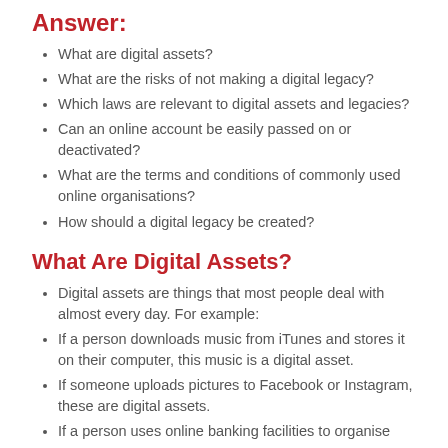Answer:
What are digital assets?
What are the risks of not making a digital legacy?
Which laws are relevant to digital assets and legacies?
Can an online account be easily passed on or deactivated?
What are the terms and conditions of commonly used online organisations?
How should a digital legacy be created?
What Are Digital Assets?
Digital assets are things that most people deal with almost every day. For example:
If a person downloads music from iTunes and stores it on their computer, this music is a digital asset.
If someone uploads pictures to Facebook or Instagram, these are digital assets.
If a person uses online banking facilities to organise